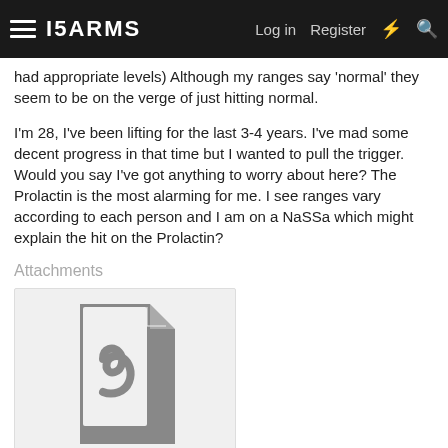ISARMS | Log in | Register
had appropriate levels) Although my ranges say 'normal' they seem to be on the verge of just hitting normal.
I'm 28, I've been lifting for the last 3-4 years. I've mad some decent progress in that time but I wanted to pull the trigger. Would you say I've got anything to worry about here? The Prolactin is the most alarming for me. I see ranges vary according to each person and I am on a NaSSa which might explain the hit on the Prolactin?
Attachments
[Figure (other): PDF file attachment icon shown as a document with a PDF logo/symbol in grey]